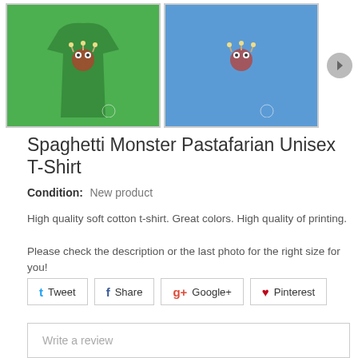[Figure (photo): Two product thumbnail images of a Spaghetti Monster Pastafarian t-shirt. Left image shows green t-shirt on a male model. Right image shows blue t-shirt on a male model. A circular arrow button is to the right of the thumbnails.]
Spaghetti Monster Pastafarian Unisex T-Shirt
Condition: New product
High quality soft cotton t-shirt. Great colors. High quality of printing.
Please check the description or the last photo for the right size for you!
Tweet  Share  Google+  Pinterest
Write a review